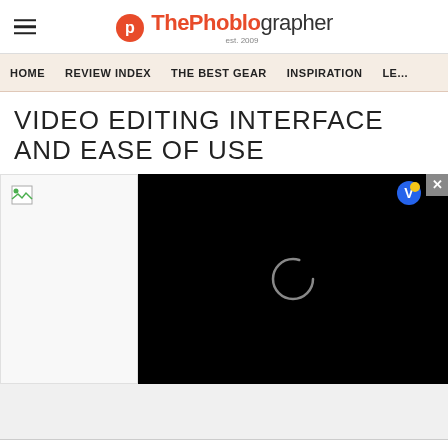ThePhoblographer
HOME | REVIEW INDEX | THE BEST GEAR | INSPIRATION | LE...
VIDEO EDITING INTERFACE AND EASE OF USE
[Figure (screenshot): Video player with black background showing a loading spinner ring in center, with a broken image thumbnail on the left side and a close button (x) and V badge icon in top right corner]